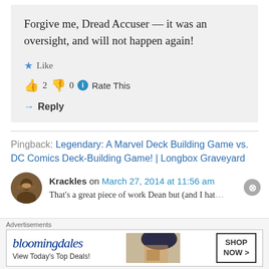Forgive me, Dread Accuser — it was an oversight, and will not happen again!
Like
2  0  Rate This
Reply
Pingback: Legendary: A Marvel Deck Building Game vs. DC Comics Deck-Building Game! | Longbox Graveyard
Krackles on March 27, 2014 at 11:56 am
That's a great piece of work Dean but (and I hat…
Advertisements
[Figure (other): Bloomingdale's advertisement: View Today's Top Deals! SHOP NOW >]